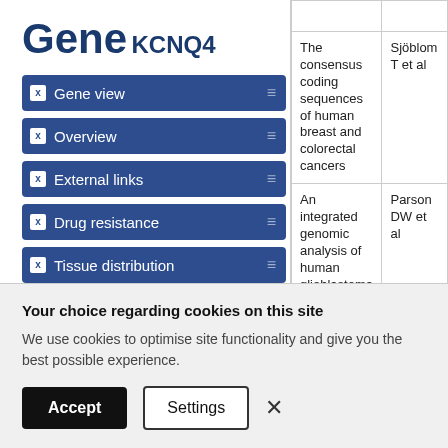Gene
KCNQ4
Gene view
Overview
External links
Drug resistance
Tissue distribution
Genome browser
Mutation distribution
| Title | Author |
| --- | --- |
| The consensus coding sequences of human breast and colorectal cancers | Sjöblom T et al |
| An integrated genomic analysis of human glioblastoma multiforme | Parson DW et al |
| Core Signaling Pathways in Human Pancreatic ... | Jones S et al |
Your choice regarding cookies on this site
We use cookies to optimise site functionality and give you the best possible experience.
Accept   Settings   ×